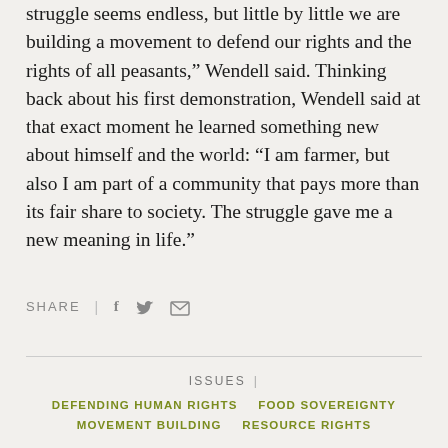struggle seems endless, but little by little we are building a movement to defend our rights and the rights of all peasants,” Wendell said. Thinking back about his first demonstration, Wendell said at that exact moment he learned something new about himself and the world: “I am farmer, but also I am part of a community that pays more than its fair share to society. The struggle gave me a new meaning in life.”
SHARE | f ᵛ ✉
ISSUES | DEFENDING HUMAN RIGHTS   FOOD SOVEREIGNTY   MOVEMENT BUILDING   RESOURCE RIGHTS